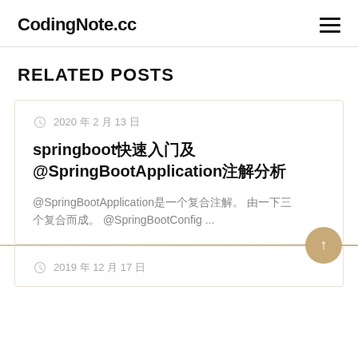CodingNote.cc
RELATED POSTS
2020 年 2 月 13 日
springboot快速入门及 @SpringBootApplication注解分析
@SpringBootApplication是一个复合注解。 由一下三个复合而成。 @SpringBootConfig ...
2019 年 12 月 17 日